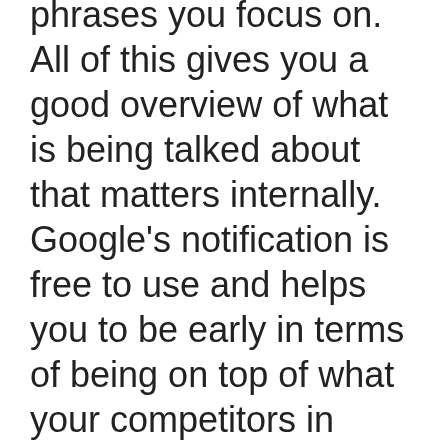phrases you focus on. All of this gives you a good overview of what is being talked about that matters internally. Google's notification is free to use and helps you to be early in terms of being on top of what your competitors in Dallas are doing, potential public relations disasters in the form of negative reviews and much else useful.
Need Help Deciding